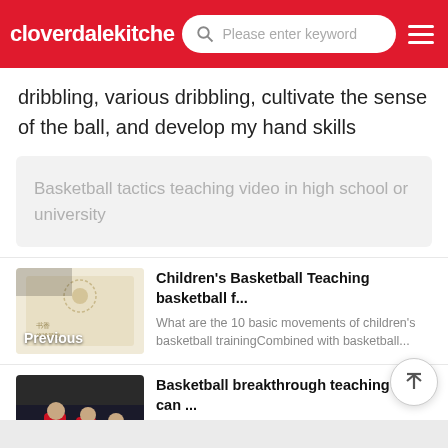cloverdalekitche | Please enter keyword
dribbling, various dribbling, cultivate the sense of the ball, and develop my hand skills
Basketball tactics teaching video in high school or university
[Figure (illustration): Thumbnail for Children's Basketball Teaching article, labeled Previous]
Children's Basketball Teaching basketball f... What are the 10 basic movements of children's basketball trainingCombined with basketball...
[Figure (photo): Thumbnail of basketball players in red uniforms, labeled Next]
Basketball breakthrough teaching you can ... How to use breakthrough technology in basketballYou can use your movement to scor